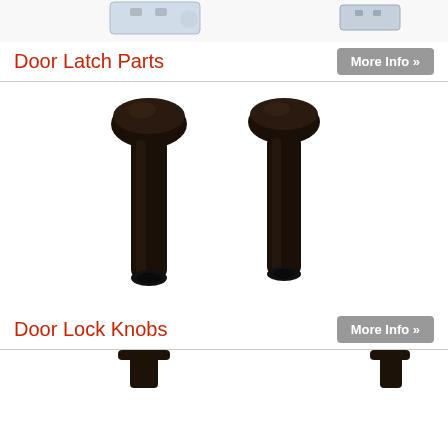[Figure (photo): Partial view of a door latch part at top of page]
Door Latch Parts
More Info »
[Figure (photo): Two dark/black door lock knobs with elongated pin shafts, shown side by side]
Door Lock Knobs
More Info »
[Figure (photo): Partial view of door lock knobs at bottom of page]